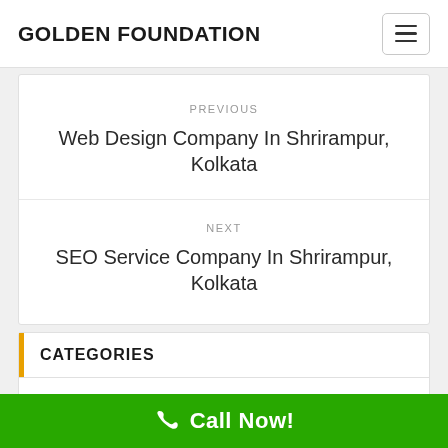GOLDEN FOUNDATION
PREVIOUS
Web Design Company In Shrirampur, Kolkata
NEXT
SEO Service Company In Shrirampur, Kolkata
CATEGORIES
Advance Servicing Plus (3)
Call Now!